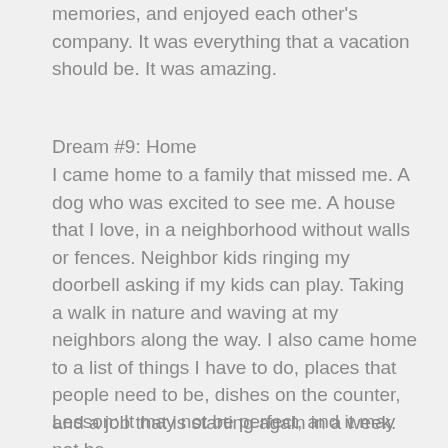memories, and enjoyed each other's company. It was everything that a vacation should be. It was amazing.
Dream #9: Home
I came home to a family that missed me. A dog who was excited to see me. A house that I love, in a neighborhood without walls or fences. Neighbor kids ringing my doorbell asking if my kids can play. Taking a walk in nature and waving at my neighbors along the way. I also came home to a list of things I have to do, places that people need to be, dishes on the counter, and a job that is starting again in a week.
Lesson: It may not be perfect, and it may not be